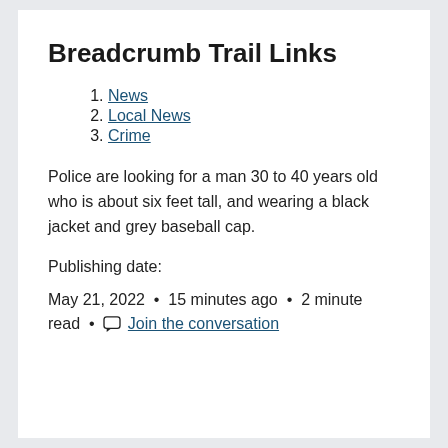Breadcrumb Trail Links
1. News
2. Local News
3. Crime
Police are looking for a man 30 to 40 years old who is about six feet tall, and wearing a black jacket and grey baseball cap.
Publishing date:
May 21, 2022  •  15 minutes ago  •  2 minute read  •  Join the conversation